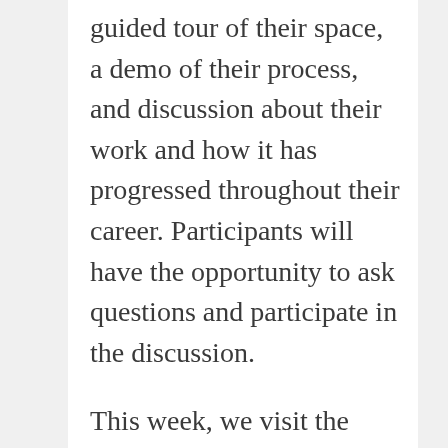guided tour of their space, a demo of their process, and discussion about their work and how it has progressed throughout their career. Participants will have the opportunity to ask questions and participate in the discussion.
This week, we visit the studio of sculptor Christina Erives! Christina believes that ceramics as material has permanence, it is one of the ways we were able to learn about ancient…
Visit an Artist and